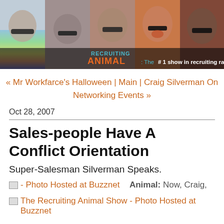[Figure (photo): Header banner for Recruiting Animal show: collage of faces/people with sunglasses, overlaid with logo text 'RECRUITING ANIMAL: The #1 show in recruiting radio']
« Mr Workfarce's Halloween | Main | Craig Silverman On Networking Events »
Oct 28, 2007
Sales-people Have A Conflict Orientation
Super-Salesman Silverman Speaks.
- Photo Hosted at Buzznet  Animal: Now, Craig,
The Recruiting Animal Show - Photo Hosted at Buzznet